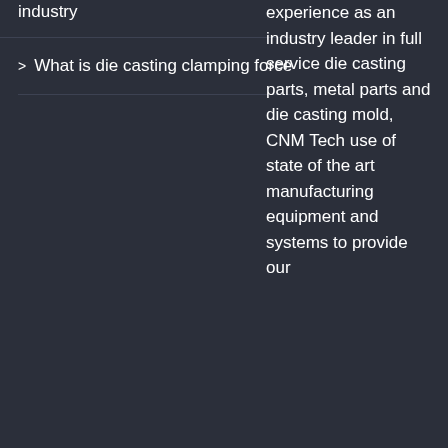industry
What is die casting clamping force
experience as an industry leader in full service die casting parts, metal parts and die casting mold, CNM Tech use of state of the art manufacturing equipment and systems to provide our